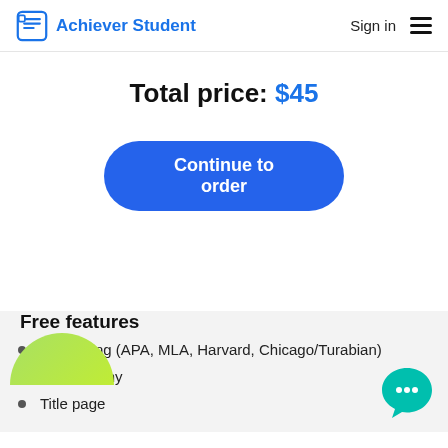Achiever Student — Sign in
Total price: $45
Continue to order
[Figure (illustration): Green decorative shape (partial circle/leaf) in the upper left of the features section]
Free features
Formatting (APA, MLA, Harvard, Chicago/Turabian)
Bibliography
Title page
[Figure (illustration): Teal chat/speech bubble icon in the bottom right corner with three dots]